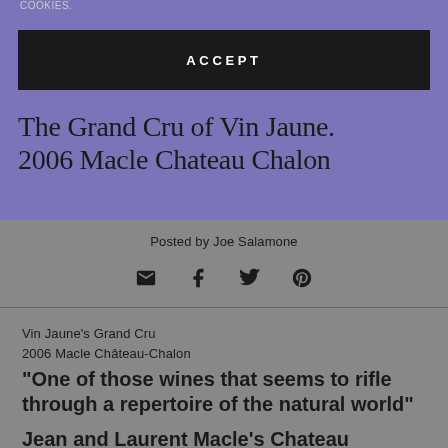COOKIES.
[Figure (screenshot): Dark black ACCEPT button on purple/lavender background]
The Grand Cru of Vin Jaune. 2006 Macle Chateau Chalon
Posted by Joe Salamone
[Figure (infographic): Social share icons: email, facebook, twitter, pinterest]
Vin Jaune's Grand Cru
2006 Macle Château-Chalon
"One of those wines that seems to rifle through a repertoire of the natural world"

Jean and Laurent Macle's Chateau Chalons